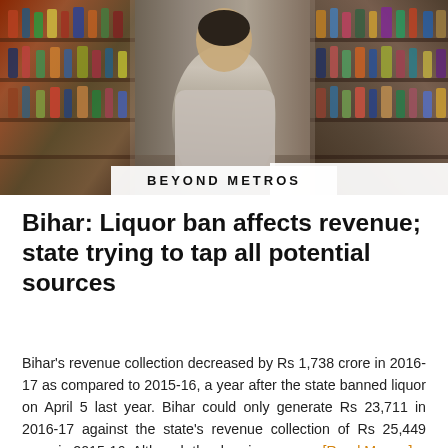[Figure (photo): A person standing in a liquor store aisle surrounded by shelves of bottles on both sides]
BEYOND METROS
Bihar: Liquor ban affects revenue; state trying to tap all potential sources
Bihar's revenue collection decreased by Rs 1,738 crore in 2016-17 as compared to 2015-16, a year after the state banned liquor on April 5 last year. Bihar could only generate Rs 23,711 in 2016-17 against the state's revenue collection of Rs 25,449 crore in 2015-16. Although the drop in revenue, [Read More...]